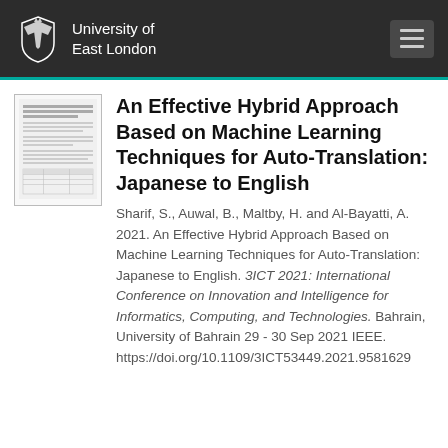University of East London
[Figure (other): Thumbnail preview of the paper document]
An Effective Hybrid Approach Based on Machine Learning Techniques for Auto-Translation: Japanese to English
Sharif, S., Auwal, B., Maltby, H. and Al-Bayatti, A. 2021. An Effective Hybrid Approach Based on Machine Learning Techniques for Auto-Translation: Japanese to English. 3ICT 2021: International Conference on Innovation and Intelligence for Informatics, Computing, and Technologies. Bahrain, University of Bahrain 29 - 30 Sep 2021 IEEE. https://doi.org/10.1109/3ICT53449.2021.9581629